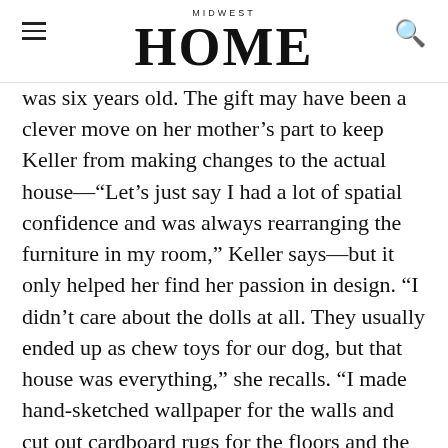MIDWEST HOME
was six years old. The gift may have been a clever move on her mother’s part to keep Keller from making changes to the actual house—“Let’s just say I had a lot of spatial confidence and was always rearranging the furniture in my room,” Keller says—but it only helped her find her passion in design. “I didn’t care about the dolls at all. They usually ended up as chew toys for our dog, but that house was everything,” she recalls. “I made hand-sketched wallpaper for the walls and cut out cardboard rugs for the floors and the elevator.”
Keller went on to study interior design in college and joined Gunkelmans Interior Design soon after graduating, working alongside accomplished